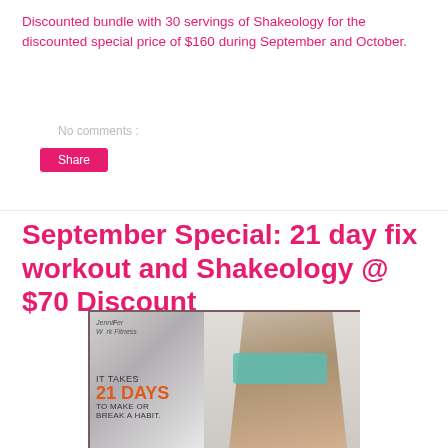Discounted bundle with 30 servings of Shakeology for the discounted special price of $160 during September and October.
No comments :
Share
September Special: 21 day fix workout and Shakeology @ $70 Discount
[Figure (photo): Promotional fitness image showing a fit woman and text reading 'IT TAKES 21 DAYS TO MAKE OR BREAK A HABIT.' with a Jennifer Fit logo in the top left.]